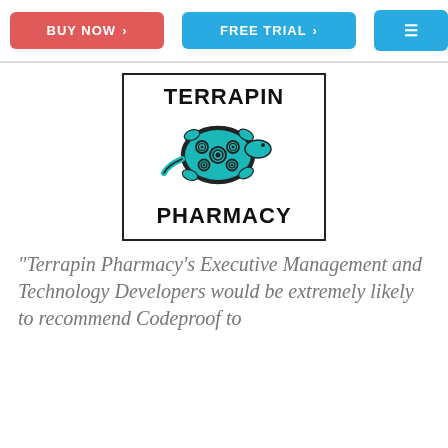BUY NOW > | FREE TRIAL > | ≡
[Figure (logo): Terrapin Pharmacy logo: black bordered box with 'TERRAPIN' in bold text, a teal/turquoise turtle with spiral shell design, and 'PHARMACY' in bold text below]
"Terrapin Pharmacy's Executive Management and Technology Developers would be extremely likely to recommend Codeproof to